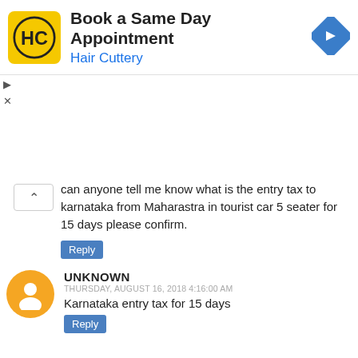[Figure (infographic): Hair Cuttery advertisement banner with HC logo, 'Book a Same Day Appointment' text, and a blue navigation arrow icon]
can anyone tell me know what is the entry tax to karnataka from Maharastra in tourist car 5 seater for 15 days please confirm.
Reply
UNKNOWN
THURSDAY, AUGUST 16, 2018 4:16:00 AM
Karnataka entry tax for 15 days
Reply
UNKNOWN
TUESDAY, OCTOBER 23, 2018 1:59:00 PM
Hello sir i have plan manali from delhi tour 4 days innova yellow board. How much cost Toll and state tax?
Reply